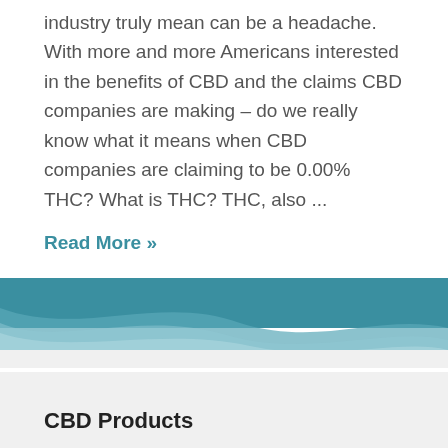industry truly mean can be a headache. With more and more Americans interested in the benefits of CBD and the claims CBD companies are making – do we really know what it means when CBD companies are claiming to be 0.00% THC? What is THC? THC, also ...
Read More »
[Figure (illustration): Teal and light blue wave/ribbon decorative divider between white and light grey sections]
CBD Products
CBD Tinctures
CBD Topicals
CBD Softgels
CBD for Pets